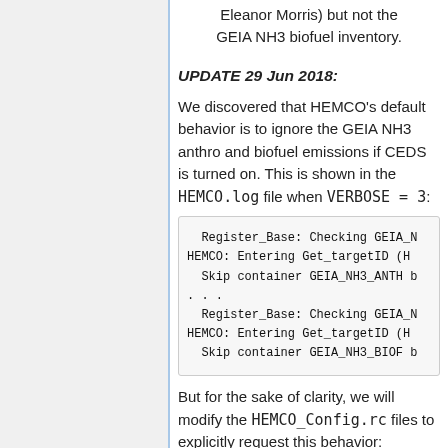Eleanor Morris) but not the GEIA NH3 biofuel inventory.
UPDATE 29 Jun 2018:
We discovered that HEMCO's default behavior is to ignore the GEIA NH3 anthro and biofuel emissions if CEDS is turned on. This is shown in the HEMCO.log file when VERBOSE = 3:
Register_Base: Checking GEIA_N
HEMCO: Entering Get_targetID (H
  Skip container GEIA_NH3_ANTH b
...
  Register_Base: Checking GEIA_N
HEMCO: Entering Get_targetID (H
  Skip container GEIA_NH3_BIOF b
But for the sake of clarity, we will modify the HEMCO_Config.rc files to explicitly request this behavior: